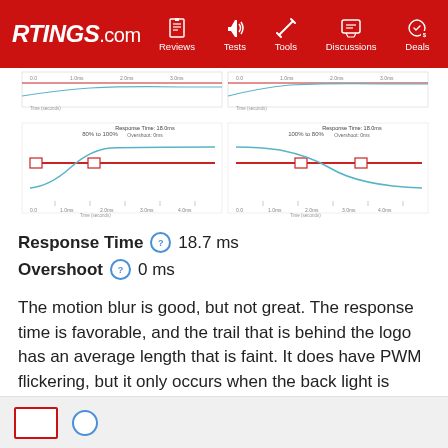RTINGS.com | Reviews | Tests | Tools | Discussions | Deals
[Figure (continuous-plot): Four response time oscilloscope/waveform charts showing monitor response time measurements. Charts show red horizontal reference lines and blue/teal waveform curves with small vertical tick marks along the x-axis (time in seconds). Charts are arranged in a 2x2 grid layout with labels indicating 80% to 100% and other transition percentages, with Response Time 18.0ms Overshoot labels.]
Response Time  18.7 ms
Overshoot  0 ms
The motion blur is good, but not great. The response time is favorable, and the trail that is behind the logo has an average length that is faint. It does have PWM flickering, but it only occurs when the back light is below 10 out of 20.
LEARN ABOUT MOTION BLUR >